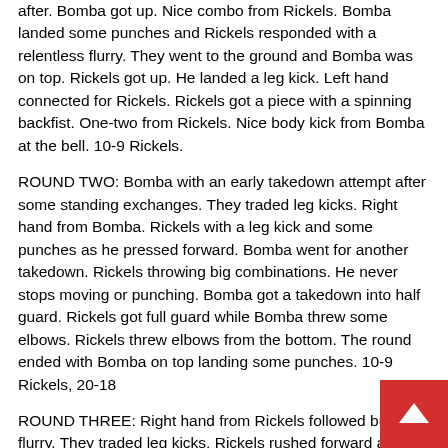after. Bomba got up. Nice combo from Rickels. Bomba landed some punches and Rickels responded with a relentless flurry. They went to the ground and Bomba was on top. Rickels got up. He landed a leg kick. Left hand connected for Rickels. Rickels got a piece with a spinning backfist. One-two from Rickels. Nice body kick from Bomba at the bell. 10-9 Rickels.
ROUND TWO: Bomba with an early takedown attempt after some standing exchanges. They traded leg kicks. Right hand from Bomba. Rickels with a leg kick and some punches as he pressed forward. Bomba went for another takedown. Rickels throwing big combinations. He never stops moving or punching. Bomba got a takedown into half guard. Rickels got full guard while Bomba threw some elbows. Rickels threw elbows from the bottom. The round ended with Bomba on top landing some punches. 10-9 Rickels, 20-18
ROUND THREE: Right hand from Rickels followed but a flurry. They traded leg kicks. Rickels rushed forward and fought like he needed the finish. Rickels scored a takedown and landed body shots and short elbows. Bomba got up but ate a knee on